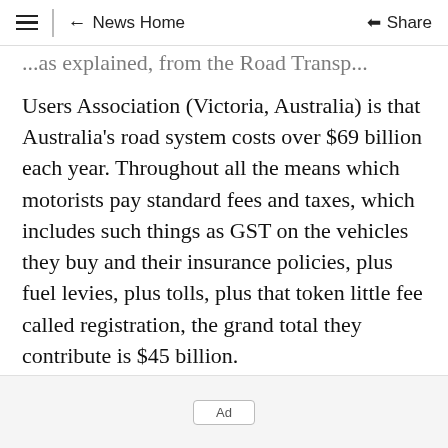≡  ← News Home  Share
...as explained, from the Road Transport Users Association (Victoria, Australia) is that Australia's road system costs over $69 billion each year. Throughout all the means which motorists pay standard fees and taxes, which includes such things as GST on the vehicles they buy and their insurance policies, plus fuel levies, plus tolls, plus that token little fee called registration, the grand total they contribute is $45 billion.
That $69 billion short falls the road system...